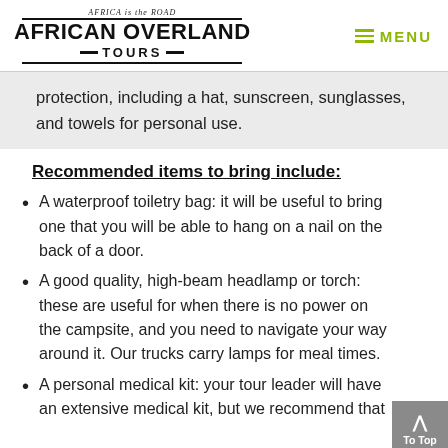AFRICA is the ROAD — AFRICAN OVERLAND TOURS — MENU
protection, including a hat, sunscreen, sunglasses, and towels for personal use.
Recommended items to bring include:
A waterproof toiletry bag: it will be useful to bring one that you will be able to hang on a nail on the back of a door.
A good quality, high-beam headlamp or torch: these are useful for when there is no power on the campsite, and you need to navigate your way around it. Our trucks carry lamps for meal times.
A personal medical kit: your tour leader will have an extensive medical kit, but we recommend that